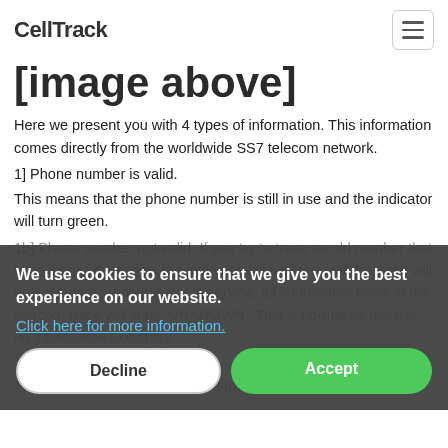CellTrack
[image above]
Here we present you with 4 types of information. This information comes directly from the worldwide SS7 telecom network.
1] Phone number is valid.
This means that the phone number is still in use and the indicator will turn green.
1b] Phone number not valid. If you try to trace an old number that is no longer in service, the indicator will turn red and the trace will end. When a number is not in service, all information fields in the telecom-trace will state 'UNKNOWN'. This is normal as there is no information to display.
2] User is roaming.
The indicator will turn green and the text beside it will state